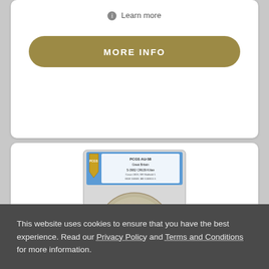ⓘ Learn more
MORE INFO
[Figure (photo): PCGS graded coin in slab holder, labeled PCGS AU-58, Great Britain, Crown]
This website uses cookies to ensure that you have the best experience. Read our Privacy Policy and Terms and Conditions for more information.
ACCEPT AND CONTINUE